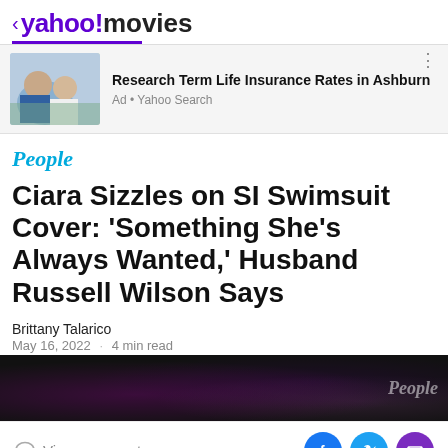< yahoo! movies
[Figure (photo): Ad image showing a couple sitting outdoors]
Research Term Life Insurance Rates in Ashburn
Ad • Yahoo Search
People
Ciara Sizzles on SI Swimsuit Cover: 'Something She's Always Wanted,' Husband Russell Wilson Says
Brittany Talarico
May 16, 2022  ·  4 min read
[Figure (screenshot): Dark People magazine video thumbnail with bokeh lights]
View comments